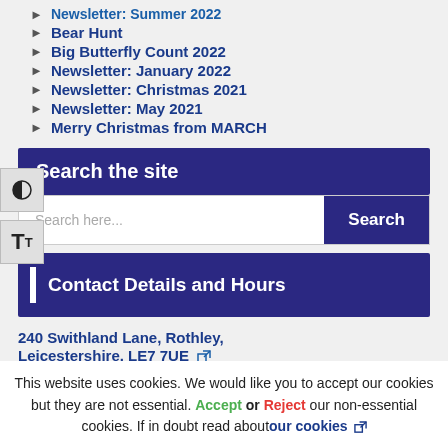Newsletter: Summer 2022
Bear Hunt
Big Butterfly Count 2022
Newsletter: January 2022
Newsletter: Christmas 2021
Newsletter: May 2021
Merry Christmas from MARCH
Search the site
Search here...
Contact Details and Hours
240 Swithland Lane, Rothley, Leicestershire. LE7 7UE
This website uses cookies. We would like you to accept our cookies but they are not essential. Accept or Reject our non-essential cookies. If in doubt read about our cookies